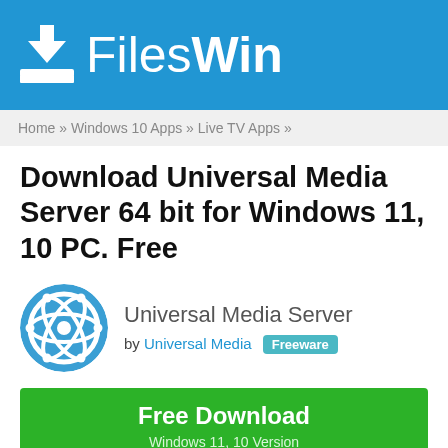FilesWin
Home » Windows 10 Apps » Live TV Apps »
Download Universal Media Server 64 bit for Windows 11, 10 PC. Free
[Figure (logo): Universal Media Server circular logo — blue circle with white atom/network icon]
Universal Media Server
by Universal Media  Freeware
Free Download
Windows 11, 10 Version
Free Download Universal Media Server App latest